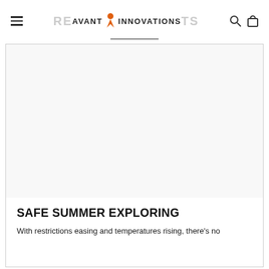AVANT INNOVATIONS
[Figure (photo): Large rectangular image placeholder area inside article card, white/light gray background]
SAFE SUMMER EXPLORING
With restrictions easing and temperatures rising, there's no